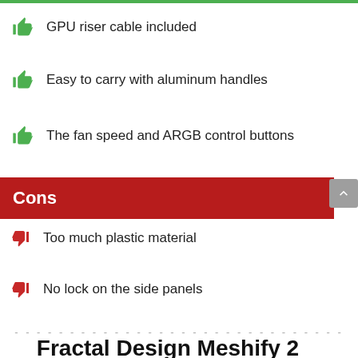GPU riser cable included
Easy to carry with aluminum handles
The fan speed and ARGB control buttons
Cons
Too much plastic material
No lock on the side panels
Fractal Design Meshify 2